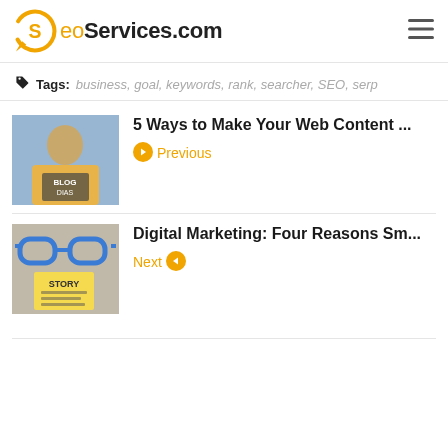SeoServices.com
Tags: business, goal, keywords, rank, searcher, SEO, serp
5 Ways to Make Your Web Content ... Previous
Digital Marketing: Four Reasons Sm... Next